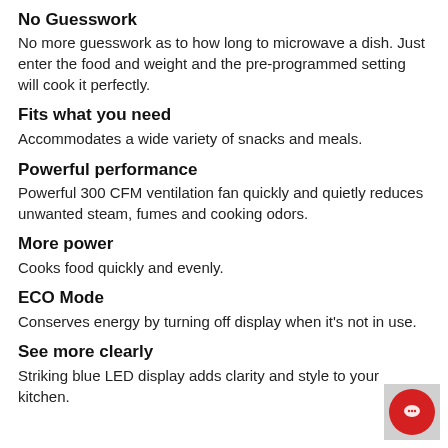No Guesswork
No more guesswork as to how long to microwave a dish. Just enter the food and weight and the pre-programmed setting will cook it perfectly.
Fits what you need
Accommodates a wide variety of snacks and meals.
Powerful performance
Powerful 300 CFM ventilation fan quickly and quietly reduces unwanted steam, fumes and cooking odors.
More power
Cooks food quickly and evenly.
ECO Mode
Conserves energy by turning off display when it's not in use.
See more clearly
Striking blue LED display adds clarity and style to your kitchen.